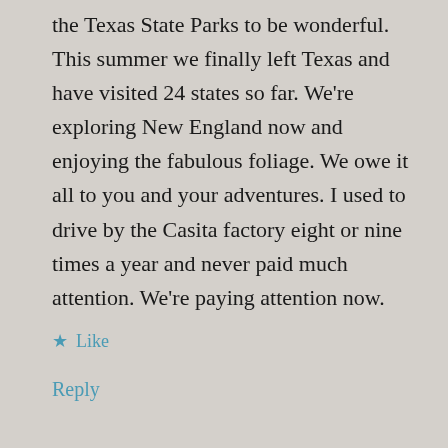the Texas State Parks to be wonderful. This summer we finally left Texas and have visited 24 states so far. We're exploring New England now and enjoying the fabulous foliage. We owe it all to you and your adventures. I used to drive by the Casita factory eight or nine times a year and never paid much attention. We're paying attention now.
★ Like
Reply